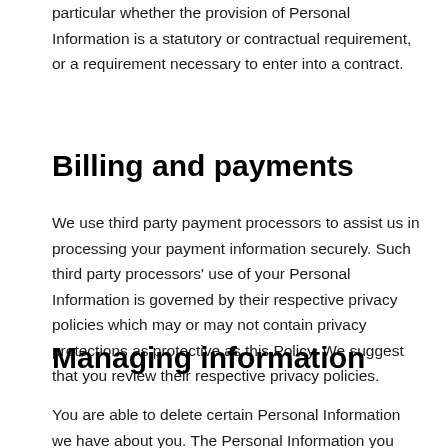particular whether the provision of Personal Information is a statutory or contractual requirement, or a requirement necessary to enter into a contract.
Billing and payments
We use third party payment processors to assist us in processing your payment information securely. Such third party processors' use of your Personal Information is governed by their respective privacy policies which may or may not contain privacy protections as protective as this Policy. We suggest that you review their respective privacy policies.
Managing information
You are able to delete certain Personal Information we have about you. The Personal Information you can delete may change as the Website and Services change. When you delete Personal